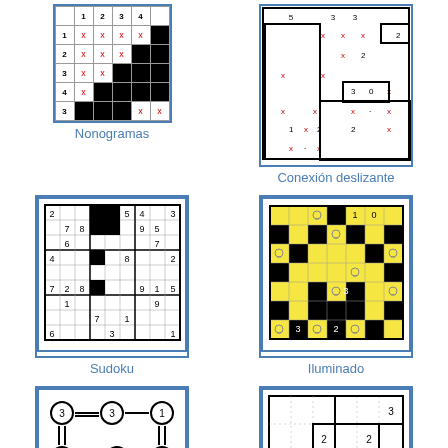[Figure (other): Nonogramas puzzle grid with row/column headers and X marks]
Nonogramas
[Figure (other): Conexión deslizante puzzle grid with numbers and X marks]
Conexión deslizante
[Figure (other): Sudoku puzzle grid 9x9 with some black cells]
Sudoku
[Figure (other): Iluminado puzzle grid with yellow and black cells and light bulb icons]
Iluminado
[Figure (other): Puentes puzzle with numbered nodes connected by bridges]
Puentes
[Figure (other): Shikaku puzzle grid with numbers in rectangles]
Shikaku